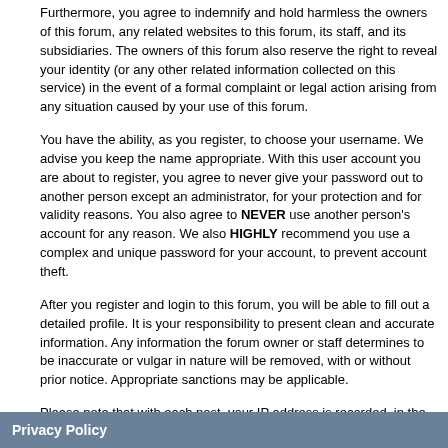Furthermore, you agree to indemnify and hold harmless the owners of this forum, any related websites to this forum, its staff, and its subsidiaries. The owners of this forum also reserve the right to reveal your identity (or any other related information collected on this service) in the event of a formal complaint or legal action arising from any situation caused by your use of this forum.
You have the ability, as you register, to choose your username. We advise you keep the name appropriate. With this user account you are about to register, you agree to never give your password out to another person except an administrator, for your protection and for validity reasons. You also agree to NEVER use another person's account for any reason. We also HIGHLY recommend you use a complex and unique password for your account, to prevent account theft.
After you register and login to this forum, you will be able to fill out a detailed profile. It is your responsibility to present clean and accurate information. Any information the forum owner or staff determines to be inaccurate or vulgar in nature will be removed, with or without prior notice. Appropriate sanctions may be applicable.
Please note that with each post, your IP address is recorded, in the event that you need to be banned from this forum or your ISP contacted. This will only happen in the event of a major violation of this agreement.
Also note that the software places a cookie, a text file containing bits of information (such as your username and password), in your browser's cache. This is ONLY used to keep you logged in/out. The software does not collect or send any other form of information to your computer.
Privacy Policy